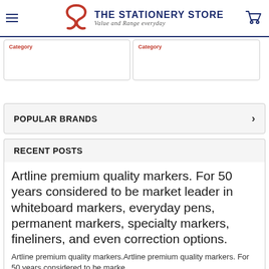THE STATIONERY STORE — Value and Range everyday
[Figure (other): Two product card placeholders side by side with red category labels]
POPULAR BRANDS
RECENT POSTS
Artline premium quality markers. For 50 years considered to be market leader in whiteboard markers, everyday pens, permanent markers, specialty markers, fineliners, and even correction options.
Artline premium quality markers.Artline premium quality markers. For 50 years considered to be marke